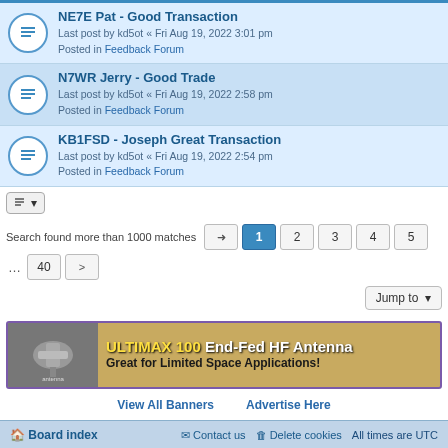NE7E Pat - Good Transaction
Last post by kd5ot « Fri Aug 19, 2022 3:01 pm
Posted in Feedback Forum
N7WR Jerry - Good Trade
Last post by kd5ot « Fri Aug 19, 2022 2:58 pm
Posted in Feedback Forum
KB1FSD - Joseph Great Transaction
Last post by kd5ot « Fri Aug 19, 2022 2:54 pm
Posted in Feedback Forum
Search found more than 1000 matches  1 2 3 4 5 ... 40 >
Jump to
[Figure (infographic): ULTIMAX 100 End-Fed HF Antenna - Great for Limited Space Applications! advertisement banner with antenna image]
View All Banners   Advertise Here
Board index   Contact us   Delete cookies   All times are UTC
Powered by phpBB® Forum Software © phpBB Limited
Privacy | Terms